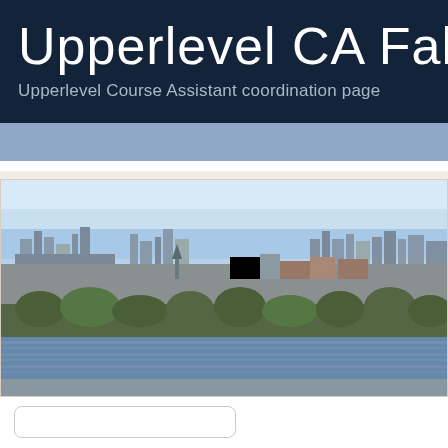Upperlevel CA Fall 20
Upperlevel Course Assistant coordination page
[Figure (photo): Aerial panoramic view of a city (Cambridge/Boston area), showing buildings, trees, and a river in the foreground under a blue sky.]